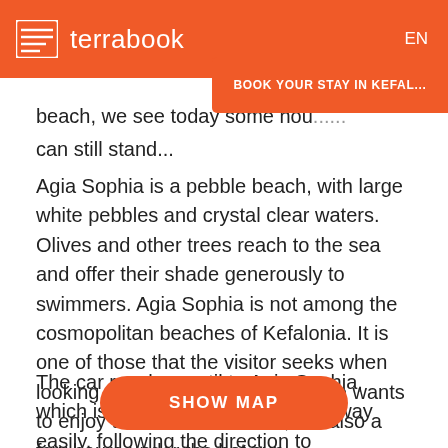terrabook  EN
beach, we see today some hou... can still stand...
Agia Sophia is a pebble beach, with large white pebbles and crystal clear waters. Olives and other trees reach to the sea and offer their shade generously to swimmers. Agia Sophia is not among the cosmopolitan beaches of Kefalonia. It is one of those that the visitor seeks when looking calm and serenity, when he wants to enjoy the sea and its cool, but also a few hours under the hot sun.
The car reaches until to Agia Sophia, which is eight kilometers from ... the way easily, following the direction to Dendrinata – Xiropotamoa